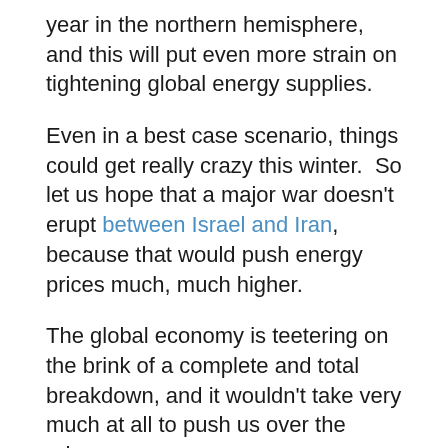year in the northern hemisphere, and this will put even more strain on tightening global energy supplies.
Even in a best case scenario, things could get really crazy this winter.  So let us hope that a major war doesn't erupt between Israel and Iran, because that would push energy prices much, much higher.
The global economy is teetering on the brink of a complete and total breakdown, and it wouldn't take very much at all to push us over the edge.
So let us hope for the best, but let us also prepare for the worst.